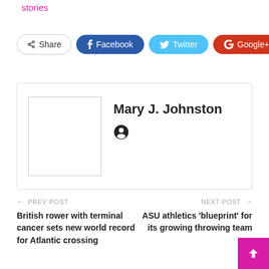stories
[Figure (infographic): Social share buttons: Share, Facebook, Twitter, Google+, and a plus button]
[Figure (infographic): Author card with blank avatar image and name Mary J. Johnston with a world/pin icon]
Mary J. Johnston
PREV POST
British rower with terminal cancer sets new world record for Atlantic crossing
NEXT POST
ASU athletics 'blueprint' for its growing throwing team